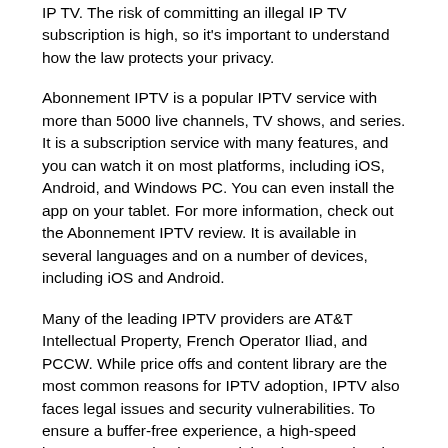IP TV. The risk of committing an illegal IP TV subscription is high, so it's important to understand how the law protects your privacy.
Abonnement IPTV is a popular IPTV service with more than 5000 live channels, TV shows, and series. It is a subscription service with many features, and you can watch it on most platforms, including iOS, Android, and Windows PC. You can even install the app on your tablet. For more information, check out the Abonnement IPTV review. It is available in several languages and on a number of devices, including iOS and Android.
Many of the leading IPTV providers are AT&T Intellectual Property, French Operator Iliad, and PCCW. While price offs and content library are the most common reasons for IPTV adoption, IPTV also faces legal issues and security vulnerabilities. To ensure a buffer-free experience, a high-speed internet connection is essential. At least 25 Mbps is required for streaming full HD live channels. Many countries are beginning to